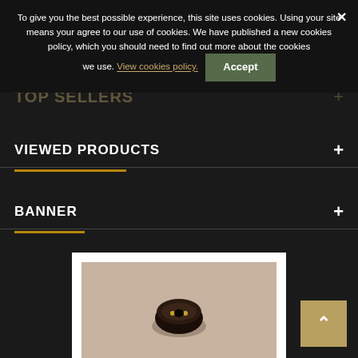To give you the best possible experience, this site uses cookies. Using your site means your agree to our use of cookies. We have published a new cookies policy, which you should need to find out more about the cookies we use. View cookies policy. Accept
TOP SELLERS
VIEWED PRODUCTS
BANNER
[Figure (photo): Small black rubber grommet/fastener on a beige/pinkish background, product photo]
[Figure (logo): Anatec logo with orange italic text 'Anatec' and green square grid icon]